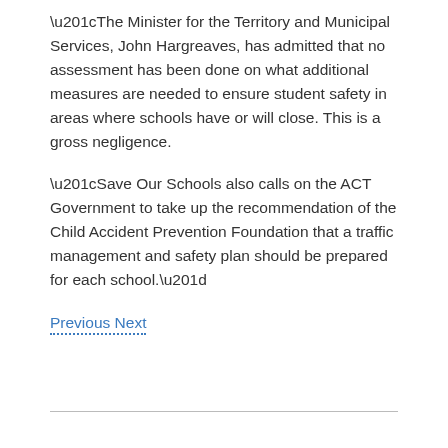“The Minister for the Territory and Municipal Services, John Hargreaves, has admitted that no assessment has been done on what additional measures are needed to ensure student safety in areas where schools have or will close. This is a gross negligence.
“Save Our Schools also calls on the ACT Government to take up the recommendation of the Child Accident Prevention Foundation that a traffic management and safety plan should be prepared for each school.”
Previous Next